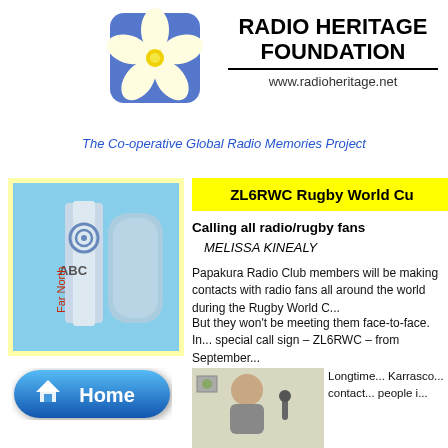[Figure (logo): Radio Heritage Foundation logo with frangipani flower and blue square background]
RADIO HERITAGE FOUNDATION
www.radioheritage.net
The Co-operative Global Radio Memories Project
[Figure (photo): ABC Far North radio building sign with ABC logo]
ZL6RWC Rugby World Cu
Calling all radio/rugby fans
MELISSA KINEALY
Papakura Radio Club members will be making contacts with radio fans all around the world during the Rugby World C...
But they won't be meeting them face-to-face. In... special call sign – ZL6RWC – from September...
[Figure (photo): Portrait photo of a man seated at a desk with a microphone]
Longtime... Karrasco... contact... people i...
[Figure (illustration): Home button - blue rounded pill button with house icon and Home text]